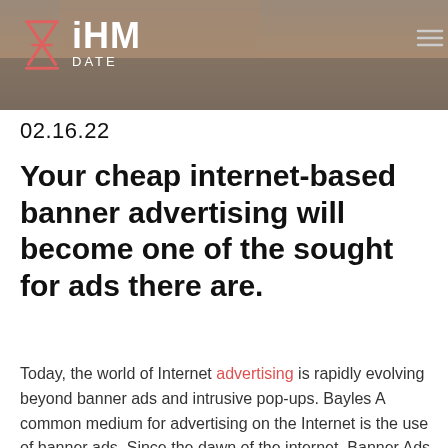[Figure (photo): Website header with a blurred photo background of a person, overlaid with a semi-transparent dark layer.]
iHM DATE
02.16.22
Your cheap internet-based banner advertising will become one of the sought for ads there are.
Today, the world of Internet advertising is rapidly evolving beyond banner ads and intrusive pop-ups. Bayles A common medium for advertising on the Internet is the use of banner ads. Since the dawn of the internet, Banner Ads have been